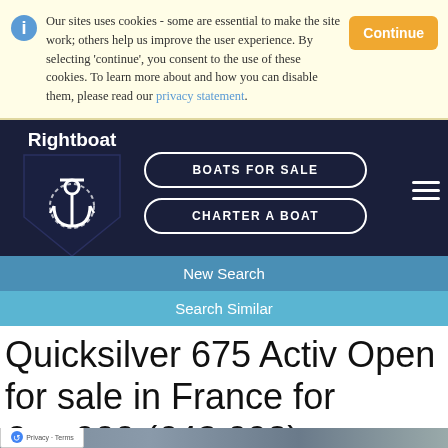Our sites uses cookies - some are essential to make the site work; others help us improve the user experience. By selecting 'continue', you consent to the use of these cookies. To learn more about and how you can disable them, please read our privacy statement.
[Figure (logo): Rightboat logo with anchor icon on dark navy shield]
BOATS FOR SALE
CHARTER A BOAT
New Search
Search Similar
Quicksilver 675 Activ Open for sale in France for €__,900 (£43,098)